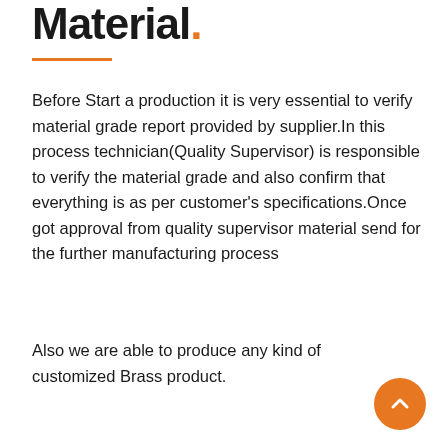Material.
Before Start a production it is very essential to verify material grade report provided by supplier.In this process technician(Quality Supervisor) is responsible to verify the material grade and also confirm that everything is as per customer's specifications.Once got approval from quality supervisor material send for the further manufacturing process
Also we are able to produce any kind of customized Brass product.